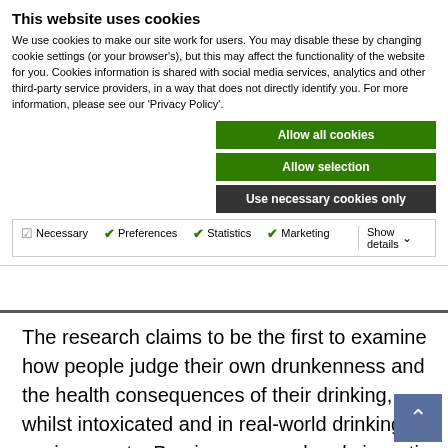This website uses cookies
We use cookies to make our site work for users. You may disable these by changing cookie settings (or your browser's), but this may affect the functionality of the website for you. Cookies information is shared with social media services, analytics and other third-party service providers, in a way that does not directly identify you. For more information, please see our 'Privacy Policy'.
Allow all cookies
Allow selection
Use necessary cookies only
Necessary  Preferences  Statistics  Marketing  Show details
The research claims to be the first to examine how people judge their own drunkenness and the health consequences of their drinking, whilst intoxicated and in real-world drinking environments. Previous research only investig participants while they were sober and in non-